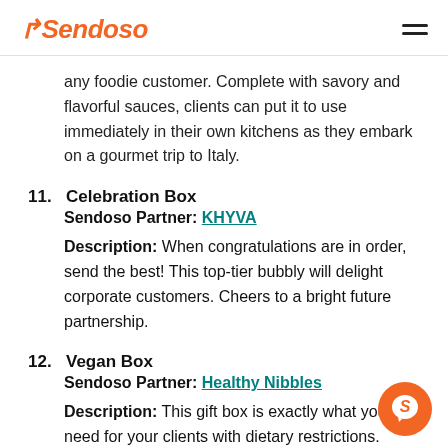Sendoso
any foodie customer. Complete with savory and flavorful sauces, clients can put it to use immediately in their own kitchens as they embark on a gourmet trip to Italy.
11. Celebration Box
Sendoso Partner: KHYVA
Description: When congratulations are in order, send the best! This top-tier bubbly will delight corporate customers. Cheers to a bright future partnership.
12. Vegan Box
Sendoso Partner: Healthy Nibbles
Description: This gift box is exactly what you need for your clients with dietary restrictions.